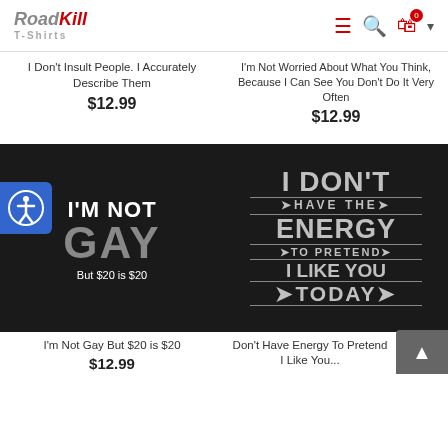RoadKill T-Shirts
I Don't Insult People. I Accurately Describe Them
$12.99
I'm Not Worried About What You Think, Because I Can See You Don't Do It Very Often
$12.99
[Figure (photo): Black t-shirt with text I'M NOT GAY But $20 is $20 in white and grey letters, with accessibility icon overlay]
[Figure (photo): Black t-shirt with text I DON'T HAVE THE ENERGY TO PRETEND I LIKE YOU TODAY in grey distressed letters]
I'm Not Gay But $20 is $20
$12.99
Don't Have Energy To Pretend I Like You...